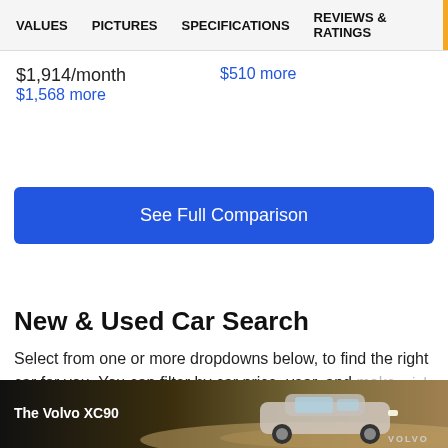VALUES  PICTURES  SPECIFICATIONS  REVIEWS & RATINGS
$1,914/month   $510 more
$1,568 more
See Full Comparison
New & Used Car Search
Select from one or more dropdowns below, to find the right car for you. You can filter by car price, year, and make.
[Figure (photo): Advertisement banner showing a Volvo XC90 SUV driving on a desert road with the text 'The Volvo XC90' and the Volvo logo.]